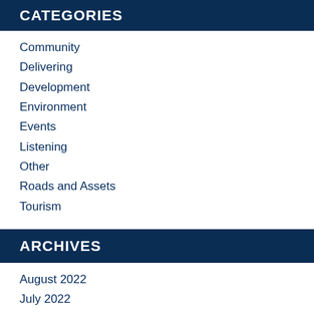CATEGORIES
Community
Delivering
Development
Environment
Events
Listening
Other
Roads and Assets
Tourism
ARCHIVES
August 2022
July 2022
June 2022